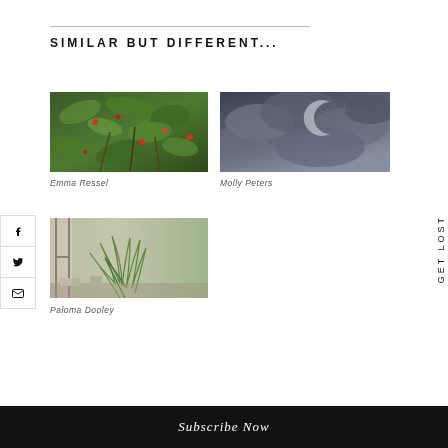SIMILAR BUT DIFFERENT...
[Figure (photo): Close-up of lush green foliage with red flowers/berries — photo by Emma Ressel]
Emma Ressel
[Figure (photo): Dark moody sky with crescent moon visible through clouds — photo by Molly Peters]
Molly Peters
[Figure (photo): Indoor scene with large fern plants by a window with natural light — photo by Paloma Dooley]
Paloma Dooley
GET LOST
Subscribe Now